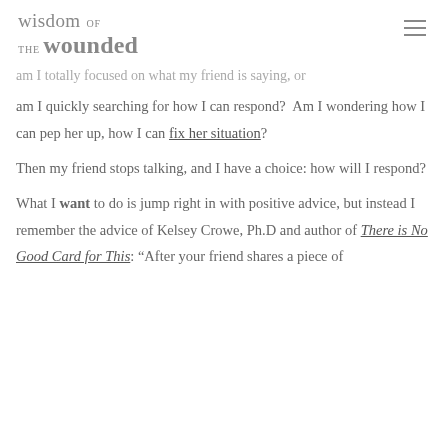wisdom of the wounded
am I totally focused on what my friend is saying, or am I quickly searching for how I can respond?  Am I wondering how I can pep her up, how I can fix her situation?
Then my friend stops talking, and I have a choice: how will I respond?
What I want to do is jump right in with positive advice, but instead I remember the advice of Kelsey Crowe, Ph.D and author of There is No Good Card for This: “After your friend shares a piece of